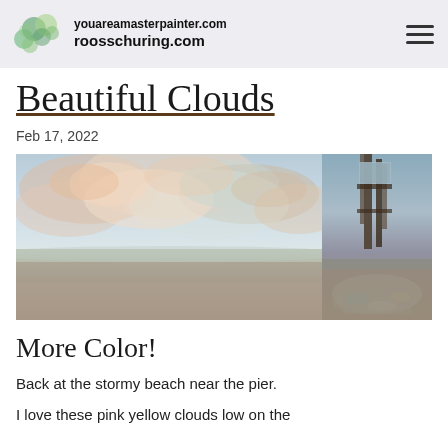youareamasterpainter.com roosschuring.com
Beautiful Clouds
Feb 17, 2022
[Figure (photo): Two side-by-side photos: left shows an oil painting of colorful pink, orange, and teal clouds over a beach/seascape; right shows the easel and art supplies set up on a real beach with a grey sky.]
More Color!
Back at the stormy beach near the pier.
I love these pink yellow clouds low on the